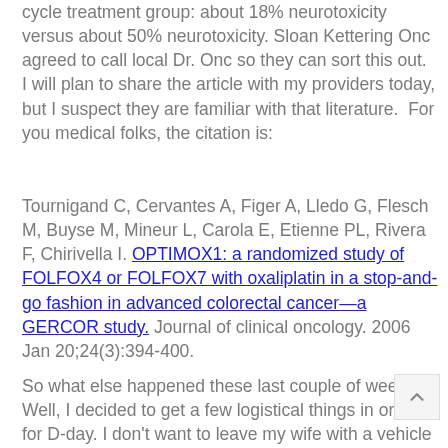cycle treatment group: about 18% neurotoxicity versus about 50% neurotoxicity. Sloan Kettering Onc agreed to call local Dr. Onc so they can sort this out.  I will plan to share the article with my providers today, but I suspect they are familiar with that literature.  For you medical folks, the citation is:
Tournigand C, Cervantes A, Figer A, Lledo G, Flesch M, Buyse M, Mineur L, Carola E, Etienne PL, Rivera F, Chirivella I. OPTIMOX1: a randomized study of FOLFOX4 or FOLFOX7 with oxaliplatin in a stop-and-go fashion in advanced colorectal cancer—a GERCOR study. Journal of clinical oncology. 2006 Jan 20;24(3):394-400.
So what else happened these last couple of weeks?  Well, I decided to get a few logistical things in order for D-day. I don't want to leave my wife with a vehicle title